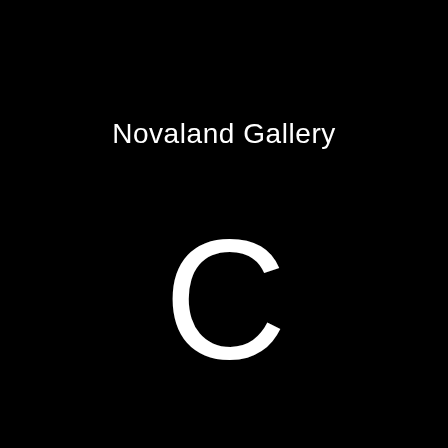Novaland Gallery
[Figure (logo): Large white letter C on black background, rendered in a thin elegant sans-serif font]